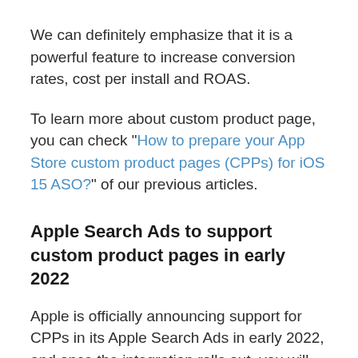We can definitely emphasize that it is a powerful feature to increase conversion rates, cost per install and ROAS.
To learn more about custom product page, you can check "How to prepare your App Store custom product pages (CPPs) for iOS 15 ASO?" of our previous articles.
Apple Search Ads to support custom product pages in early 2022
Apple is officially announcing support for CPPs in its Apple Search Ads in early 2022, and once the integration rolls out, you will be able to select custom product pages for your Apple Search Ads